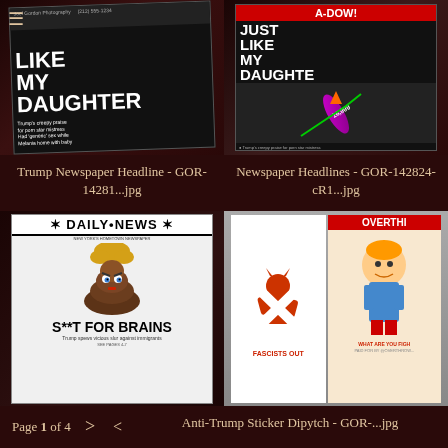[Figure (photo): Newspaper tabloid front page showing headline 'JUST LIKE MY DAUGHTER' with photo of Trump]
[Figure (photo): Newspaper tabloid front page showing headline 'A-DOW! JUST LIKE MY DAUGHTER' with rocket graphic]
Trump Newspaper Headline - GOR-14281...jpg
Newspaper Headlines - GOR-142824-cR1...jpg
[Figure (photo): Daily News front page with poop emoji styled as Trump, headline 'S**T FOR BRAINS - Trump spews vicious slur against immigrants']
[Figure (photo): Anti-Trump stickers on a wall: 'FASCISTS OUT' and 'OVERTHROW... WHAT ARE YOU FIGHTING FOR']
Page 1 of 4
Anti-Trump Sticker Dipytch - GOR-...jpg